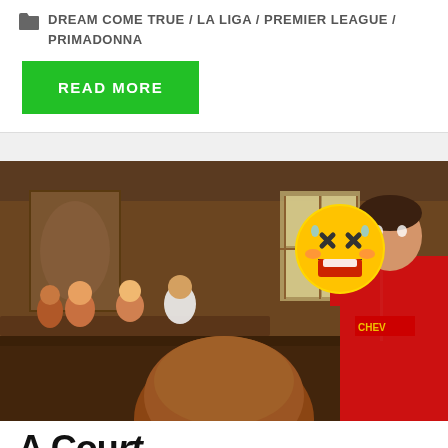DREAM COME TRUE / LA LIGA / PREMIER LEAGUE / PRIMADONNA
READ MORE
[Figure (photo): A scene from a TV show or movie set in a courtroom/meeting room. A man in a red Manchester United jersey with a laughing emoji overlay on the upper right is the main subject, with people seated in the background.]
A Court...